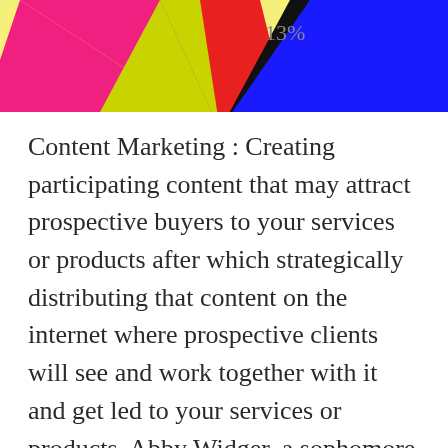[Figure (pie-chart): Partial pie chart visible at top of page showing colorful segments including pink, yellow-green, red, black, blue sections; one segment labeled 13%]
Content Marketing : Creating participating content that may attract prospective buyers to your services or products after which strategically distributing that content on the internet where prospective clients will see and work together with it and get led to your services or products. Abby Widger, a sophomore at Mercyhurst University learning enterprise marketing and style merchandising, is doing simply that — making her second yr of college residing area her personal (with a few customized